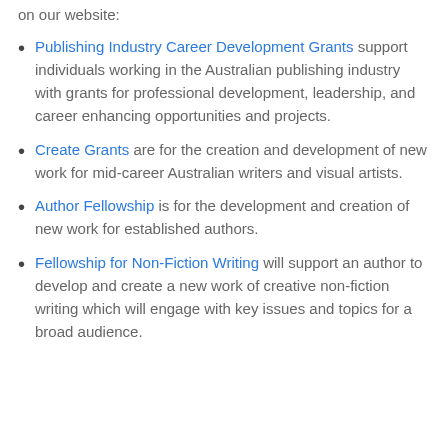on our website:
Publishing Industry Career Development Grants support individuals working in the Australian publishing industry with grants for professional development, leadership, and career enhancing opportunities and projects.
Create Grants are for the creation and development of new work for mid-career Australian writers and visual artists.
Author Fellowship is for the development and creation of new work for established authors.
Fellowship for Non-Fiction Writing will support an author to develop and create a new work of creative non-fiction writing which will engage with key issues and topics for a broad audience.